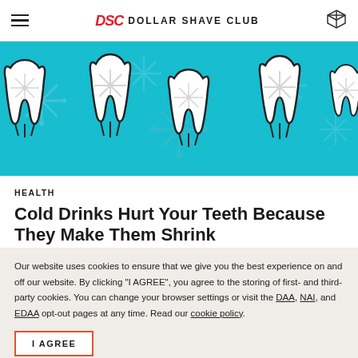DOLLAR SHAVE CLUB
[Figure (illustration): Teal/cyan background with white 3D tooth shapes and gray snowflake designs scattered across the image]
HEALTH
Cold Drinks Hurt Your Teeth Because They Make Them Shrink
QUINN MYERS / 3 YEARS AGO
Our website uses cookies to ensure that we give you the best experience on and off our website. By clicking "I AGREE", you agree to the storing of first- and third-party cookies. You can change your browser settings or visit the DAA, NAI, and EDAA opt-out pages at any time. Read our cookie policy.
I AGREE